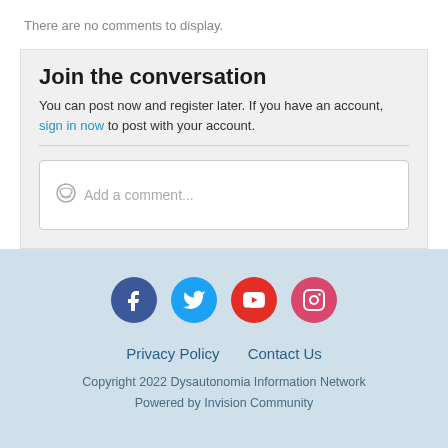There are no comments to display.
Join the conversation
You can post now and register later. If you have an account, sign in now to post with your account.
Add a comment...
[Figure (infographic): Social media icons: Facebook, Twitter, YouTube, Instagram]
Privacy Policy   Contact Us
Copyright 2022 Dysautonomia Information Network
Powered by Invision Community